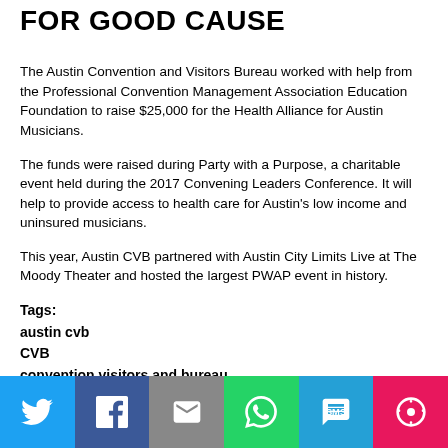FOR GOOD CAUSE
The Austin Convention and Visitors Bureau worked with help from the Professional Convention Management Association Education Foundation to raise $25,000 for the Health Alliance for Austin Musicians.
The funds were raised during Party with a Purpose, a charitable event held during the 2017 Convening Leaders Conference. It will help to provide access to health care for Austin’s low income and uninsured musicians.
This year, Austin CVB partnered with Austin City Limits Live at The Moody Theater and hosted the largest PWAP event in history.
Tags:
austin cvb
CVB
convention visitors and bureau